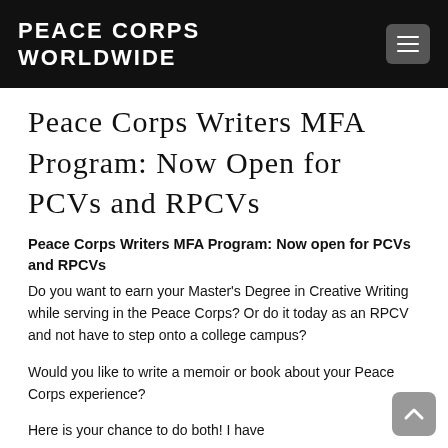PEACE CORPS WORLDWIDE
Peace Corps Writers MFA Program: Now Open for PCVs and RPCVs
Peace Corps Writers MFA Program: Now open for PCVs and RPCVs
Do you want to earn your Master's Degree in Creative Writing while serving in the Peace Corps? Or do it today as an RPCV and not have to step onto a college campus?
Would you like to write a memoir or book about your Peace Corps experience?
Here is your chance to do both! I have